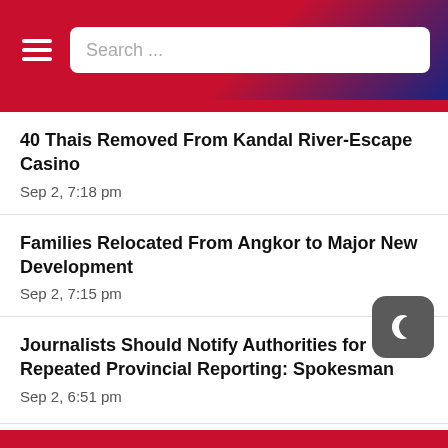Search ...
40 Thais Removed From Kandal River-Escape Casino
Sep 2, 7:18 pm
Families Relocated From Angkor to Major New Development
Sep 2, 7:15 pm
Journalists Should Notify Authorities for Repeated Provincial Reporting: Spokesman
Sep 2, 6:51 pm
Trigger-Happy Bandith Promoted Within Interior Ministry
Sep 2, 6:50 pm